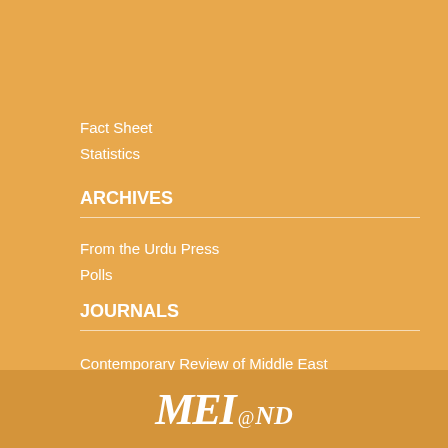Fact Sheet
Statistics
ARCHIVES
From the Urdu Press
Polls
JOURNALS
Contemporary Review of Middle East
Journal of Indo Judaic Studies
[Figure (logo): MEI@ND logo in white italic text on darker orange background]